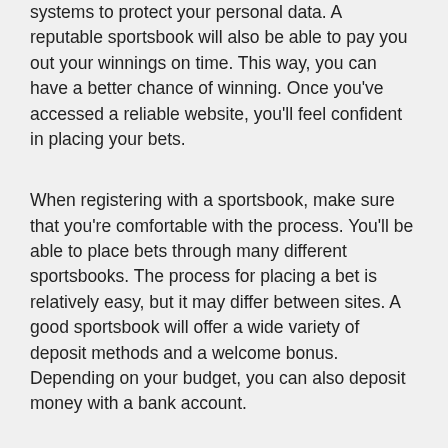systems to protect your personal data. A reputable sportsbook will also be able to pay you out your winnings on time. This way, you can have a better chance of winning. Once you've accessed a reliable website, you'll feel confident in placing your bets.
When registering with a sportsbook, make sure that you're comfortable with the process. You'll be able to place bets through many different sportsbooks. The process for placing a bet is relatively easy, but it may differ between sites. A good sportsbook will offer a wide variety of deposit methods and a welcome bonus. Depending on your budget, you can also deposit money with a bank account.
Posted in Betting
A Beginner's Guide to Sports Betting